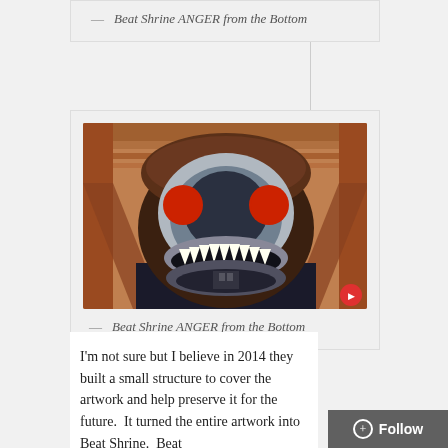— Beat Shrine ANGER from the Bottom
[Figure (photo): Close-up front view of the Beat Shrine ANGER sculpture: a monster-like creature with large red round eyes, white jagged teeth in an open mouth, dark fuzzy body, and ornate brown patterned head, photographed from below against a wooden ceiling interior.]
— Beat Shrine ANGER from the Bottom
I'm not sure but I believe in 2014 they built a small structure to cover the artwork and help preserve it for the future.  It turned the entire artwork into Beat Shrine.  Beat